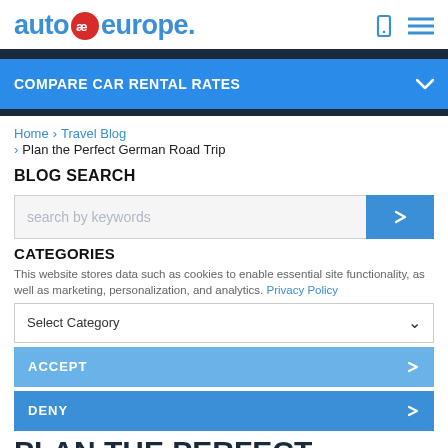auto europe.
COMPARE CAR RENTAL RATES
Home › Travel Blog › Plan the Perfect German Road Trip
BLOG SEARCH
search by keywords
CATEGORIES
This website stores data such as cookies to enable essential site functionality, as well as marketing, personalization, and analytics. Privacy Policy
Select Category
ACCEPT
DENY
PLAN THE PERFECT GERMAN ROAD TRIP FOR